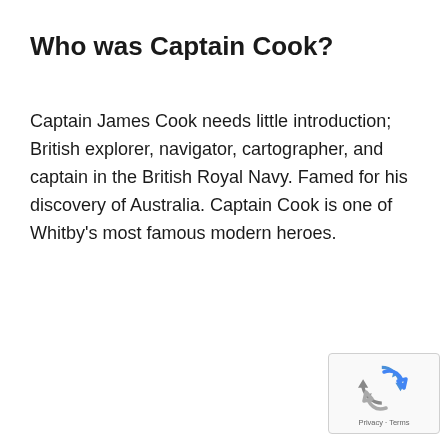Who was Captain Cook?
Captain James Cook needs little introduction; British explorer, navigator, cartographer, and captain in the British Royal Navy. Famed for his discovery of Australia. Captain Cook is one of Whitby's most famous modern heroes.
[Figure (logo): reCAPTCHA badge with recycling arrows logo and Privacy · Terms text]